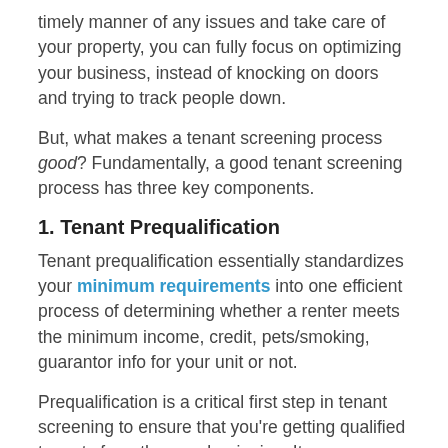timely manner of any issues and take care of your property, you can fully focus on optimizing your business, instead of knocking on doors and trying to track people down.
But, what makes a tenant screening process good? Fundamentally, a good tenant screening process has three key components.
1. Tenant Prequalification
Tenant prequalification essentially standardizes your minimum requirements into one efficient process of determining whether a renter meets the minimum income, credit, pets/smoking, guarantor info for your unit or not.
Prequalification is a critical first step in tenant screening to ensure that you're getting qualified tenants from the very beginning. It saves you and tenants time and money by determining immediately if a tenant has the financial,